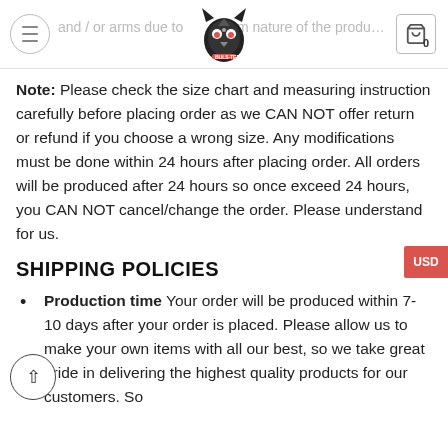and / or arms due to custom nature of the production process
Note: Please check the size chart and measuring instruction carefully before placing order as we CAN NOT offer return or refund if you choose a wrong size. Any modifications must be done within 24 hours after placing order. All orders will be produced after 24 hours so once exceed 24 hours, you CAN NOT cancel/change the order. Please understand for us.
SHIPPING POLICIES
Production time Your order will be produced within 7-10 days after your order is placed. Please allow us to make your own items with all our best, so we take great pride in delivering the highest quality products for our customers. So...